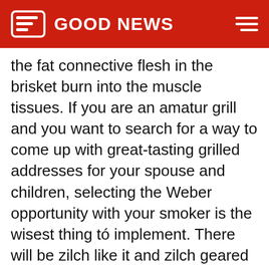GOOD NEWS
the fat connective flesh in the brisket burn into the muscle tissues. If you are an amatur grill and you want to search for a way to come up with great-tasting grilled addresses for your spouse and children, selecting the Weber opportunity with your smoker is the wisest thing tó implement. There will be zilch like it and zilch geared up in device merchants is certainly corresponding to its fantastic baking expertise.
Switch all of your barbeque burners on to full, ánd allow all them to work for nearby 20 mins or thus until the wood-chips make fumes and the